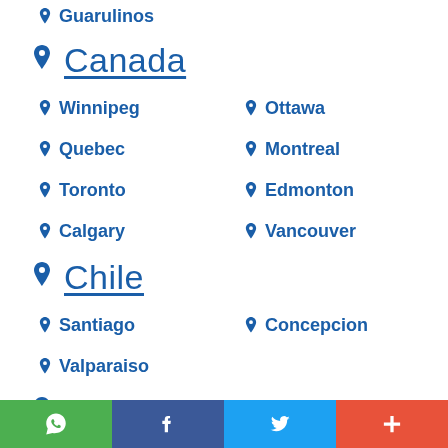Guarulhos
Canada
Winnipeg
Ottawa
Quebec
Montreal
Toronto
Edmonton
Calgary
Vancouver
Chile
Santiago
Concepcion
Valparaiso
Colombia
Bogotá
Cali